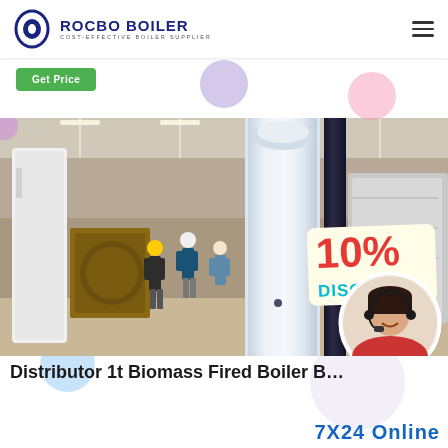ROCBO BOILER — COST-EFFECTIVE BOILER SUPPLIER
Get Price
[Figure (photo): Industrial boiler factory floor showing workers, white cylindrical boiler units, with a 10% DISCOUNT badge overlay and a customer service representative avatar in the bottom right corner]
Distributor 1t Biomass Fired Boiler B...
7X24 Online